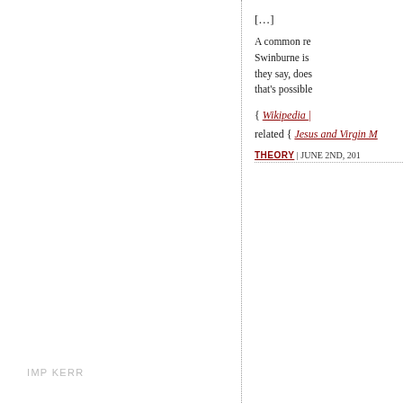[…]
A common re… Swinburne is… they say, does… that's possible…
{ Wikipedia |
related { Jesus and Virgin M…
THEORY | JUNE 2ND, 201…
IMP KERR